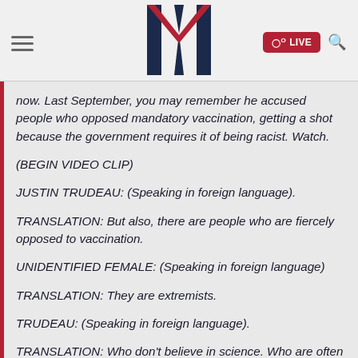[Figure (logo): Merriam or Media company logo: large dark navy M with red V-shape cutout in center, on white/light background]
now. Last September, you may remember he accused people who opposed mandatory vaccination, getting a shot because the government requires it of being racist. Watch.
(BEGIN VIDEO CLIP)
JUSTIN TRUDEAU: (Speaking in foreign language).
TRANSLATION: But also, there are people who are fiercely opposed to vaccination.
UNIDENTIFIED FEMALE: (Speaking in foreign language)
TRANSLATION: They are extremists.
TRUDEAU: (Speaking in foreign language).
TRANSLATION: Who don't believe in science. Who are often